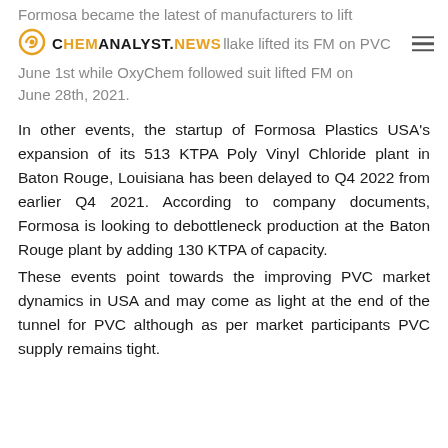Formosa became the latest of manufacturers to lift force majeure. Westlake lifted its FM on PVC on June 1st while OxyChem followed suit lifted FM on June 28th, 2021.
In other events, the startup of Formosa Plastics USA's expansion of its 513 KTPA Poly Vinyl Chloride plant in Baton Rouge, Louisiana has been delayed to Q4 2022 from earlier Q4 2021. According to company documents, Formosa is looking to debottleneck production at the Baton Rouge plant by adding 130 KTPA of capacity.
These events point towards the improving PVC market dynamics in USA and may come as light at the end of the tunnel for PVC although as per market participants PVC supply remains tight.